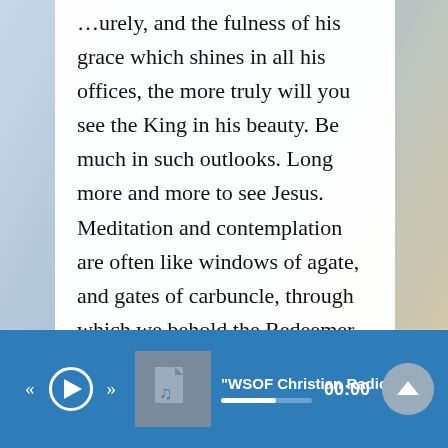his offices, the more truly will you see the King in his beauty. Be much in such outlooks. Long more and more to see Jesus. Meditation and contemplation are often like windows of agate, and gates of carbuncle, through which we behold the Redeemer. Meditation puts the telescope to the eye, and enables us to see Jesus after a better sort than we could have seen him if we had lived in the days of his flesh. Would that our conversation were more in heaven, and that we were more taken up with the person, the work, the beauty of our incarnate Lord. More meditation, and the beauty of the King would flash upon us with more resplendence. Beloved, it is very probable that we shall have such a
[Figure (screenshot): Audio media player bar at the bottom: blue background with rewind, play, and fast-forward controls on the left; album art icon (music note on grey); track title 'WSOF Christian Radio'; progress bar; time 00:00; expand/up arrow button on the right.]